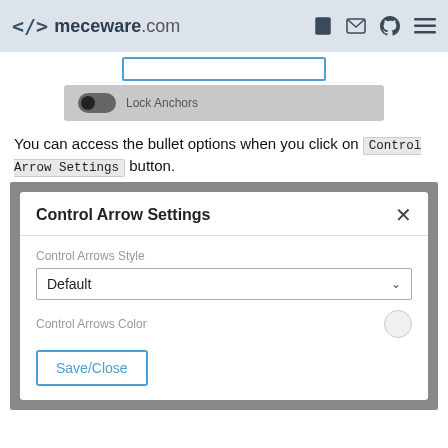<> meceware.com
[Figure (screenshot): UI screenshot showing an input bar and a Lock Anchors toggle switch on a grey background]
You can access the bullet options when you click on Control Arrow Settings button.
[Figure (screenshot): Control Arrow Settings modal dialog with Control Arrows Style dropdown set to Default, Control Arrows Color field, and Save/Close button]